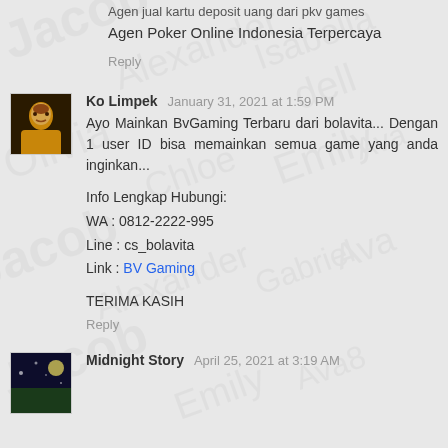Agen jual kartu deposit uang dari pkv games
Agen Poker Online Indonesia Terpercaya
Reply
[Figure (photo): Avatar of Ko Limpek - person in yellow/orange outfit]
Ko Limpek  January 31, 2021 at 1:59 PM
Ayo Mainkan BvGaming Terbaru dari bolavita... Dengan 1 user ID bisa memainkan semua game yang anda inginkan...
Info Lengkap Hubungi:
WA : 0812-2222-995
Line : cs_bolavita
Link : BV Gaming
TERIMA KASIH
Reply
[Figure (photo): Avatar of Midnight Story - dark night scene]
Midnight Story  April 25, 2021 at 3:19 AM